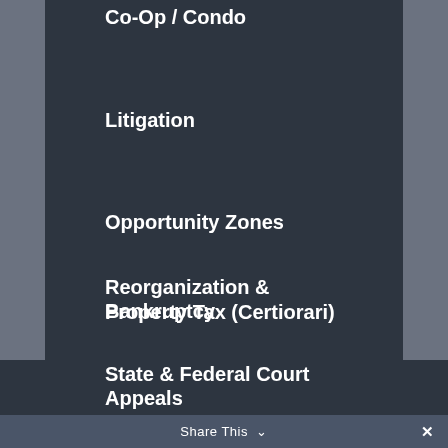Co-Op / Condo
Litigation
Opportunity Zones
Property Tax (Certiorari)
Reorganization & Bankruptcy
State & Federal Court Appeals
Tax Incentives & Affordable Housing
Share This ∨  ✕